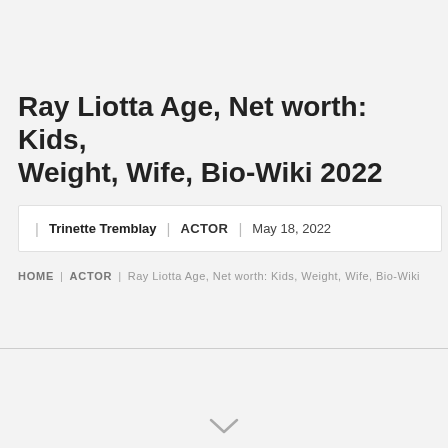Ray Liotta Age, Net worth: Kids, Weight, Wife, Bio-Wiki 2022
Trinette Tremblay | ACTOR | May 18, 2022
HOME | ACTOR | Ray Liotta Age, Net worth: Kids, Weight, Wife, Bio-Wiki